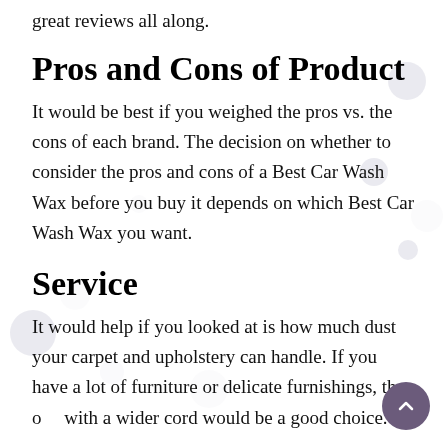great reviews all along.
Pros and Cons of Product
It would be best if you weighed the pros vs. the cons of each brand. The decision on whether to consider the pros and cons of a Best Car Wash Wax before you buy it depends on which Best Car Wash Wax you want.
Service
It would help if you looked at is how much dust your carpet and upholstery can handle. If you have a lot of furniture or delicate furnishings, then o with a wider cord would be a good choice.